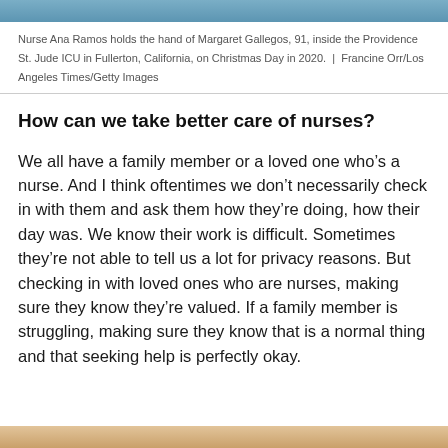[Figure (photo): Top strip of a photo showing a hospital/ICU scene with blue tones]
Nurse Ana Ramos holds the hand of Margaret Gallegos, 91, inside the Providence St. Jude ICU in Fullerton, California, on Christmas Day in 2020.  |  Francine Orr/Los Angeles Times/Getty Images
How can we take better care of nurses?
We all have a family member or a loved one who’s a nurse. And I think oftentimes we don’t necessarily check in with them and ask them how they’re doing, how their day was. We know their work is difficult. Sometimes they’re not able to tell us a lot for privacy reasons. But checking in with loved ones who are nurses, making sure they know they’re valued. If a family member is struggling, making sure they know that is a normal thing and that seeking help is perfectly okay.
[Figure (photo): Bottom strip of a photo showing warm skin tones, likely a person]